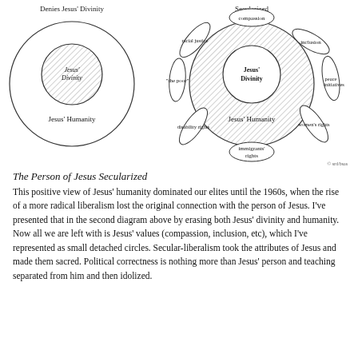[Figure (schematic): Two diagrams side by side. Left diagram labeled 'Denies Jesus' Divinity' shows a large outer circle containing a smaller inner hatched circle labeled 'Jesus' Divinity' and text 'Jesus' Humanity' below it. Right diagram labeled 'Secularized' shows a large hatched circle with text 'Jesus' Divinity' in center and 'Jesus' Humanity' below, surrounded by detached oval shapes labeled: compassion (top), inclusion (upper right), peace initiatives (right), women's rights (lower right), immigrants' rights (bottom), disability rights (lower left), 'the poor' (left), racial justice (upper left). Copyright symbol bottom right.]
The Person of Jesus Secularized
This positive view of Jesus' humanity dominated our elites until the 1960s, when the rise of a more radical liberalism lost the original connection with the person of Jesus. I've presented that in the second diagram above by erasing both Jesus' divinity and humanity. Now all we are left with is Jesus' values (compassion, inclusion, etc), which I've represented as small detached circles. Secular-liberalism took the attributes of Jesus and made them sacred. Political correctness is nothing more than Jesus' person and teaching separated from him and then idolized.